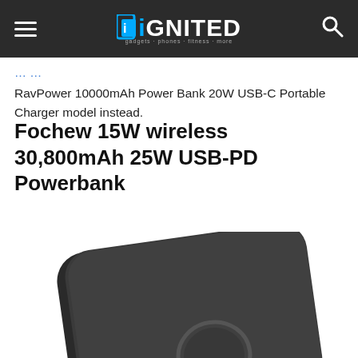iGNITED
RavPower 10000mAh Power Bank 20W USB-C Portable Charger model instead.
Fochew 15W wireless 30,800mAh 25W USB-PD Powerbank
[Figure (photo): Close-up photo of a dark grey/black wireless power bank with a rounded rectangular shape and a circular wireless charging indicator in the center of its surface.]